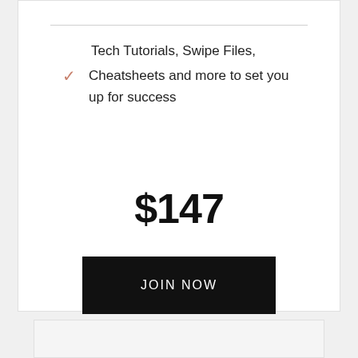Tech Tutorials, Swipe Files, Cheatsheets and more to set you up for success
$147
JOIN NOW